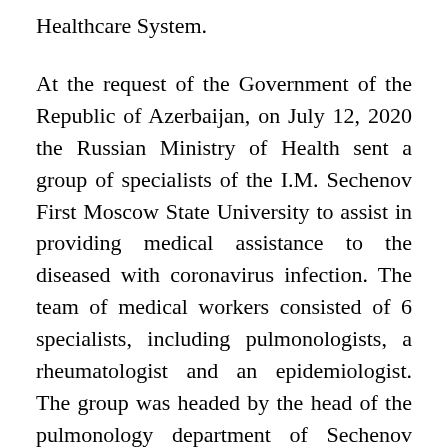Healthcare System.
At the request of the Government of the Republic of Azerbaijan, on July 12, 2020 the Russian Ministry of Health sent a group of specialists of the I.M. Sechenov First Moscow State University to assist in providing medical assistance to the diseased with coronavirus infection. The team of medical workers consisted of 6 specialists, including pulmonologists, a rheumatologist and an epidemiologist. The group was headed by the head of the pulmonology department of Sechenov University, chief freelance pulmonologist of the Russian Ministry of Health S.N. Avdeev. Together with the specialists of Sechenov University 17 volunteer-doctors working in Russia, including medical institutions in Moscow, Odintsovo and Norilsk went to Azerbaijan. Russian doctors held